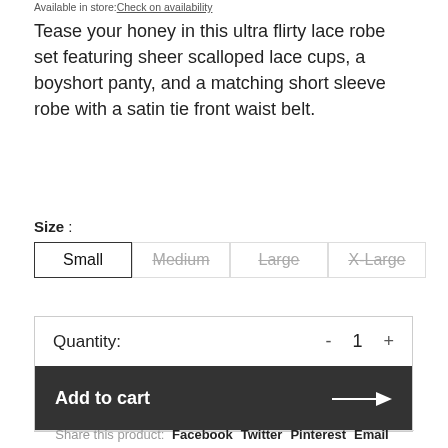Available in store: Check on availability
Tease your honey in this ultra flirty lace robe set featuring sheer scalloped lace cups, a boyshort panty, and a matching short sleeve robe with a satin tie front waist belt.
Size :
Small (selected), Medium (unavailable), Large (unavailable), X-Large (unavailable)
Quantity: - 1 +
Add to cart →
Share this product: Facebook Twitter Pinterest Email